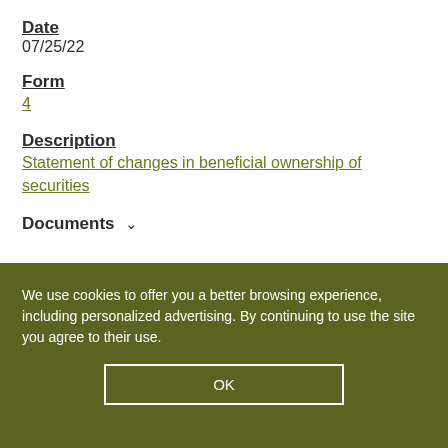Date
07/25/22
Form
4
Description
Statement of changes in beneficial ownership of securities
Documents
We use cookies to offer you a better browsing experience, including personalized advertising. By continuing to use the site you agree to their use.
OK